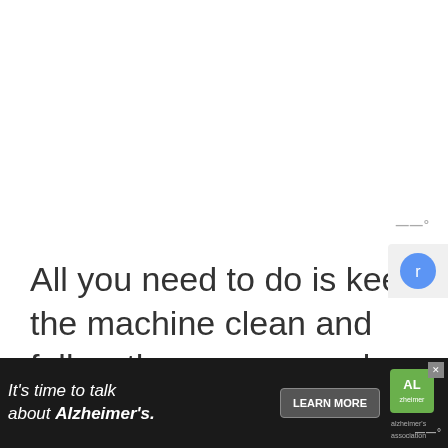[Figure (logo): Small gray logo watermark with 'ww°' text in top right area]
All you need to do is keep the machine clean and follow the user manual so that you can prevent as many future problems as possible.
[Figure (screenshot): Advertisement banner: 'It's time to talk about Alzheimer's.' with LEARN MORE button and Alzheimer's Association logo on dark background]